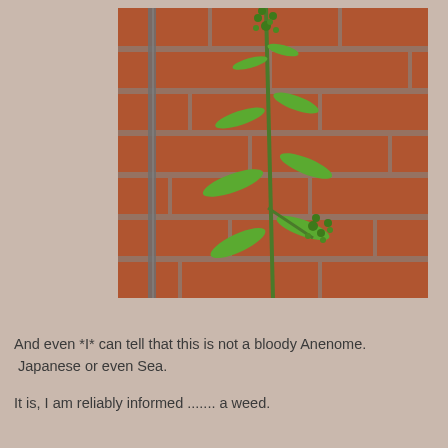[Figure (photo): A tall green plant (weed) with small green buds growing against a red brick wall. The plant has lance-shaped leaves and clusters of tiny round green buds at the top and along a lower branch.]
And even *I* can tell that this is not a bloody Anenome. Japanese or even Sea.
It is, I am reliably informed ....... a weed.